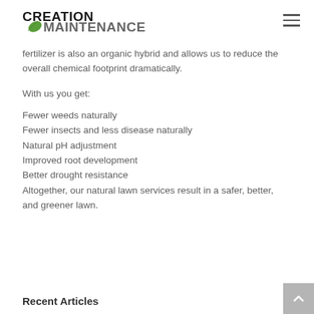CREATION MAINTENANCE
fertilizer is also an organic hybrid and allows us to reduce the overall chemical footprint dramatically.
With us you get:
Fewer weeds naturally
Fewer insects and less disease naturally
Natural pH adjustment
Improved root development
Better drought resistance
Altogether, our natural lawn services result in a safer, better, and greener lawn.
Recent Articles